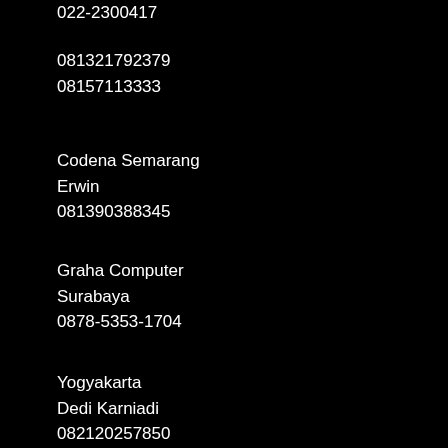022-2300417
081321792379
08157113333
Codena Semarang
Erwin
081390388345
Graha Computer
Surabaya
0878-5353-1704
Yogyakarta
Dedi Karniadi
082120257850